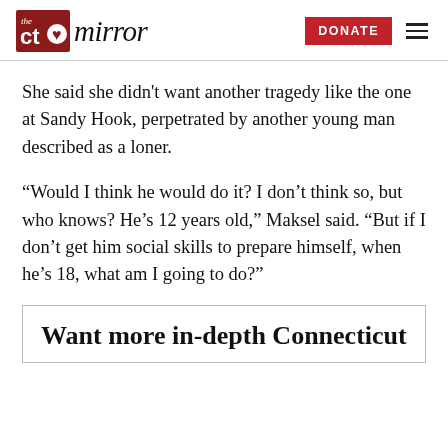the ct mirror — DONATE
She said she didn't want another tragedy like the one at Sandy Hook, perpetrated by another young man described as a loner.
“Would I think he would do it? I don’t think so, but who knows? He’s 12 years old,” Maksel said. “But if I don’t get him social skills to prepare himself, when he’s 18, what am I going to do?”
Want more in-depth Connecticut